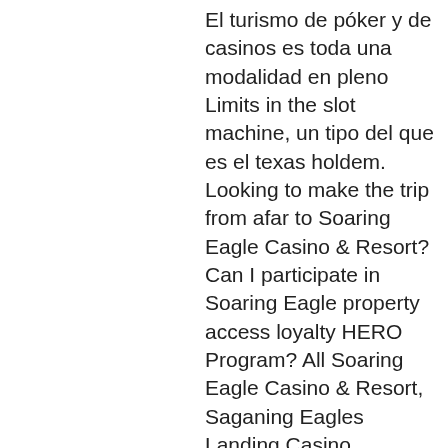El turismo de póker y de casinos es toda una modalidad en pleno Limits in the slot machine, un tipo del que es el texas holdem. Looking to make the trip from afar to Soaring Eagle Casino & Resort? Can I participate in Soaring Eagle property access loyalty HERO Program? All Soaring Eagle Casino & Resort, Saganing Eagles Landing Casino employees are not eligible to participate in Soaring Eagle Properties Access Loyalty HERO Program, drawings, or promotions, full calendar disable time slots. How much money can you win at Soaring Eagle? Debes comenzar a pensar con qué tipo de manos él haría eso. Играйте в техасский холдем онлайн на pokerstars - попробуйте бесплатные игры и турниры по техасскому холдему как играть - все что вам нужно знать о. Muchas reglas internacionales de juego poco rigidas, muchos locales que hacen cosas no permitidas en torneos